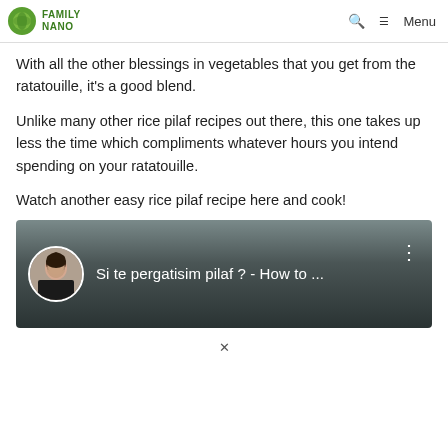FAMILY NANO | Menu
With all the other blessings in vegetables that you get from the ratatouille, it's a good blend.
Unlike many other rice pilaf recipes out there, this one takes up less the time which compliments whatever hours you intend spending on your ratatouille.
Watch another easy rice pilaf recipe here and cook!
[Figure (screenshot): YouTube video thumbnail showing a woman with dark hair, with text 'Si te pergatisim pilaf ? - How to ...' and a three-dot menu icon on a dark gradient background.]